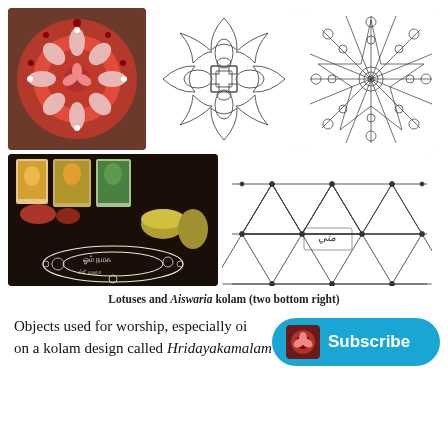[Figure (photo): Red lotus kolam/rangoli pattern with circular design, red and white colors on a floor]
[Figure (illustration): Line drawing of a lotus kolam design in circular form with petals and geometric patterns]
[Figure (illustration): Line drawing of a star-shaped geometric kolam (Aiswaria kolam) with eight points]
[Figure (photo): Photo of a Hindu worship setting with deity pictures, offerings, and a text kolam design written in white powder on a dark floor]
[Figure (illustration): Line drawing of a triangular grid kolam pattern (Aiswaria kolam) with dots and triangles forming a star shape, with Arabic/Tamil text in the center]
Lotuses and Aiswaria kolam (two bottom right)
Objects used for worship, especially oi... on a kolam design called Hridayakamalam (the lotus of the